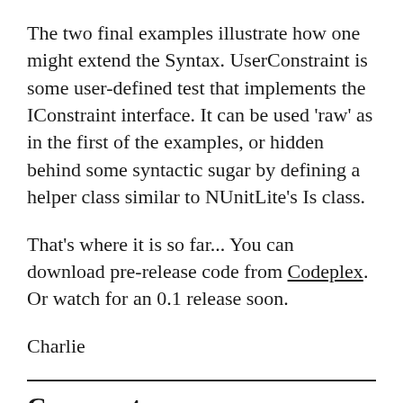The two final examples illustrate how one might extend the Syntax. UserConstraint is some user-defined test that implements the IConstraint interface. It can be used 'raw' as in the first of the examples, or hidden behind some syntactic sugar by defining a helper class similar to NUnitLite's Is class.
That's where it is so far... You can download pre-release code from Codeplex. Or watch for an 0.1 release soon.
Charlie
Comments